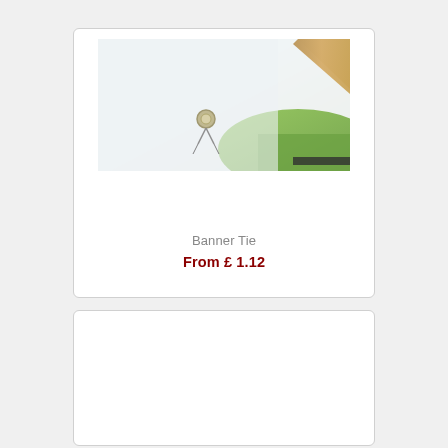[Figure (photo): Close-up photo of a banner tie/clip fastener on a white banner with wooden frame and green grass background]
Banner Tie
From £ 1.12
[Figure (other): Empty product card placeholder]